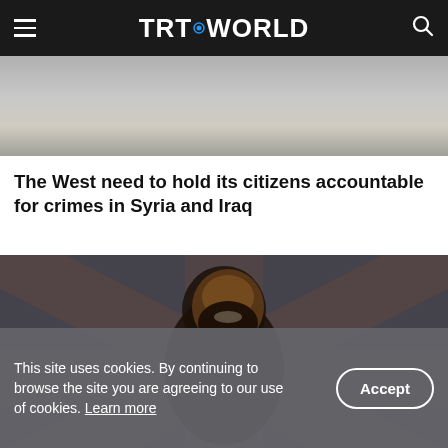TRT WORLD
[Figure (photo): Partial view of a person lying on pavement, upper body/white clothing visible]
The West need to hold its citizens accountable for crimes in Syria and Iraq
[Figure (photo): A bearded man smiling in front of a distressed Union Jack (UK flag) background]
This site uses cookies. By continuing to browse the site you are agreeing to our use of cookies. Learn more